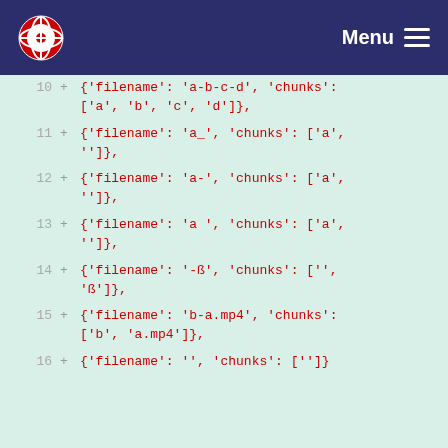Menu
10  +  {'filename': 'a-b-c-d', 'chunks': ['a', 'b', 'c', 'd']},
11  +  {'filename': 'a_', 'chunks': ['a', '']},
12  +  {'filename': 'a-', 'chunks': ['a', '']},
13  +  {'filename': 'a ', 'chunks': ['a', '']},
14  +  {'filename': '-ß', 'chunks': ['', 'ß']},
15  +  {'filename': 'b-a.mp4', 'chunks': ['b', 'a.mp4']},
16  +  {'filename': '', 'chunks': ['']}